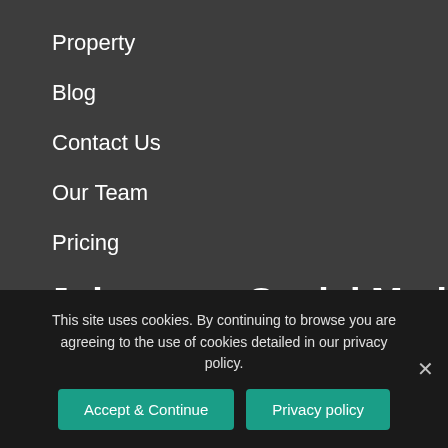Property
Blog
Contact Us
Our Team
Pricing
Free Enquiry
Join us on Social Media
[Figure (infographic): Four social media icon buttons: Facebook, LinkedIn, Pinterest, Twitter — teal rounded square backgrounds with white icons]
This site uses cookies. By continuing to browse you are agreeing to the use of cookies detailed in our privacy policy.
Accept & Continue | Privacy policy